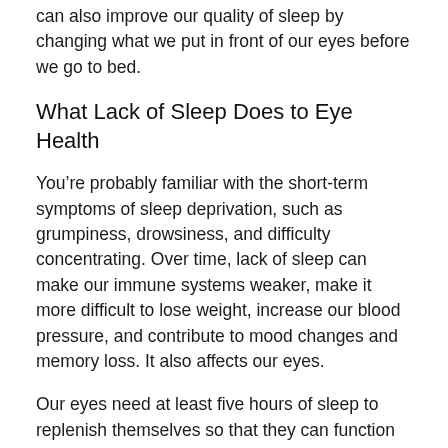can also improve our quality of sleep by changing what we put in front of our eyes before we go to bed.
What Lack of Sleep Does to Eye Health
You’re probably familiar with the short-term symptoms of sleep deprivation, such as grumpiness, drowsiness, and difficulty concentrating. Over time, lack of sleep can make our immune systems weaker, make it more difficult to lose weight, increase our blood pressure, and contribute to mood changes and memory loss. It also affects our eyes.
Our eyes need at least five hours of sleep to replenish themselves so that they can function effectively throughout the day. This goes beyond being able to keep our eyes open. Over time, the less sleep we get, the more likely we are to experience eye strain, dry eye, and even eye twitches. The good